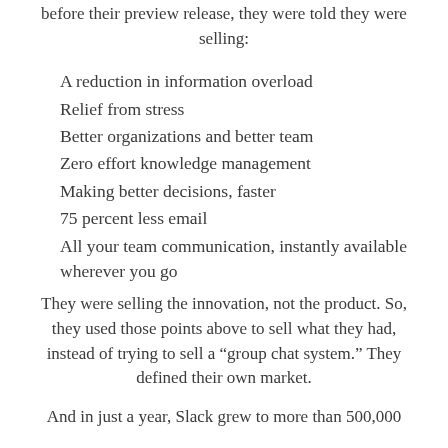before their preview release, they were told they were selling:
A reduction in information overload
Relief from stress
Better organizations and better team
Zero effort knowledge management
Making better decisions, faster
75 percent less email
All your team communication, instantly available wherever you go
They were selling the innovation, not the product. So, they used those points above to sell what they had, instead of trying to sell a “group chat system.” They defined their own market.
And in just a year, Slack grew to more than 500,000